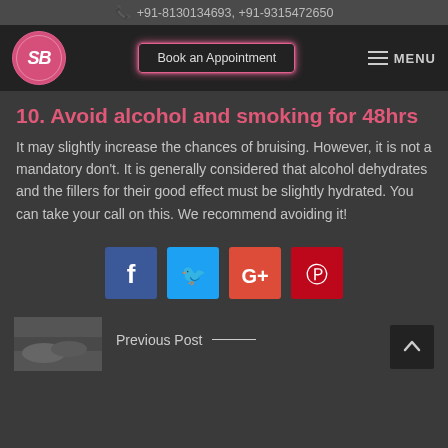+91-8130134693, +91-9315472650
[Figure (logo): SB circular logo in pink with navigation bar including Book an Appointment button and MENU]
10. Avoid alcohol and smoking for 48hrs
It may slightly increase the chances of bruising. However, it is not a mandatory don't. It is generally considered that alcohol dehydrates and the fillers for their good effect must be slightly hydrated. You can take your call on this. We recommend avoiding it!
[Figure (infographic): Social sharing buttons: Facebook, Twitter, Google+, Pinterest]
Previous Post —